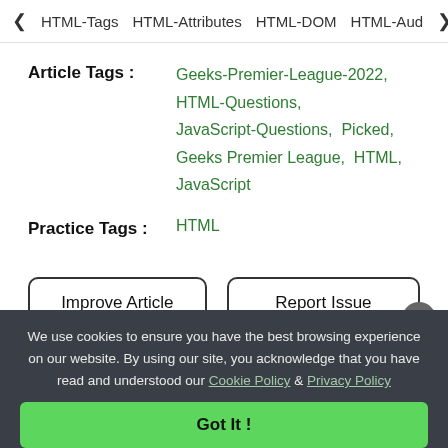HTML-Tags  HTML-Attributes  HTML-DOM  HTML-Aud
Article Tags : Geeks-Premier-League-2022, HTML-Questions, JavaScript-Questions, Picked, Geeks Premier League, HTML, JavaScript
Practice Tags : HTML
Improve Article
Report Issue
We use cookies to ensure you have the best browsing experience on our website. By using our site, you acknowledge that you have read and understood our Cookie Policy & Privacy Policy
Got It !